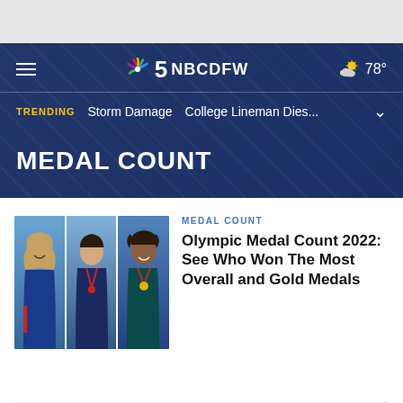NBC5 NBCDFW — 78°
TRENDING  Storm Damage  College Lineman Dies...
MEDAL COUNT
MEDAL COUNT
Olympic Medal Count 2022: See Who Won The Most Overall and Gold Medals
[Figure (photo): Three Olympic athletes collage photo — woman smiling on left, man in center, woman with medal on right]